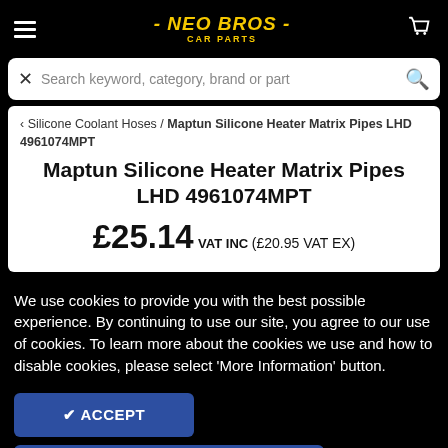NEO BROS - CAR PARTS
Search keyword, category, brand or part
‹ Silicone Coolant Hoses / Maptun Silicone Heater Matrix Pipes LHD 4961074MPT
Maptun Silicone Heater Matrix Pipes LHD 4961074MPT
£25.14 VAT INC (£20.95 VAT EX)
We use cookies to provide you with the best possible experience. By continuing to use our site, you agree to our use of cookies. To learn more about the cookies we use and how to disable cookies, please select 'More Information' button.
✔ ACCEPT
MORE INFORMATION ▶